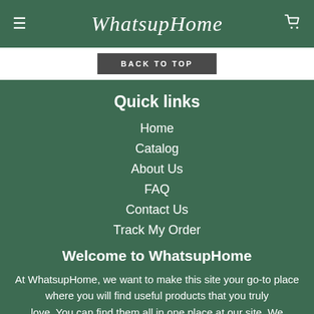WhatsupHome
BACK TO TOP
Quick links
Home
Catalog
About Us
FAQ
Contact Us
Track My Order
Welcome to WhatsupHome
At WhatsupHome, we want to make this site your go-to place where you will find useful products that you truly love. You can find them all in one place at our site. We